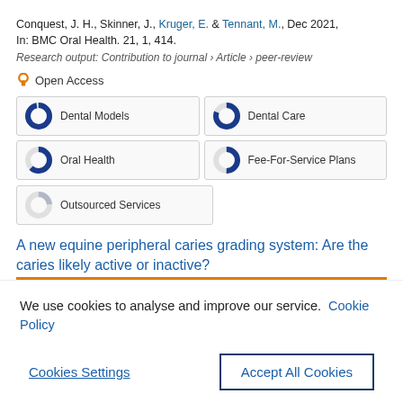Conquest, J. H., Skinner, J., Kruger, E. & Tennant, M., Dec 2021, In: BMC Oral Health. 21, 1, 414.
Research output: Contribution to journal › Article › peer-review
Open Access
Dental Models
Dental Care
Oral Health
Fee-For-Service Plans
Outsourced Services
A new equine peripheral caries grading system: Are the caries likely active or inactive?
We use cookies to analyse and improve our service. Cookie Policy
Cookies Settings
Accept All Cookies